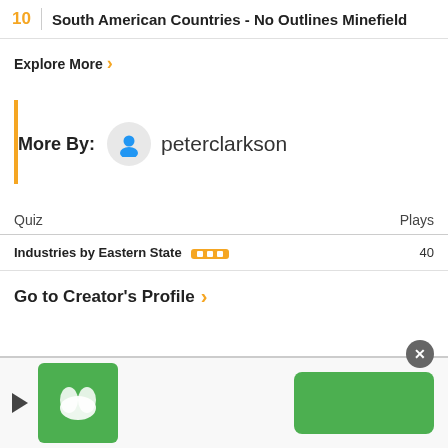10 | South American Countries - No Outlines Minefield
Explore More >
More By: peterclarkson
| Quiz | Plays |
| --- | --- |
| Industries by Eastern State [badge] | 40 |
Go to Creator's Profile >
[Figure (screenshot): Advertisement banner with green logo box, play button, and green CTA button on right]